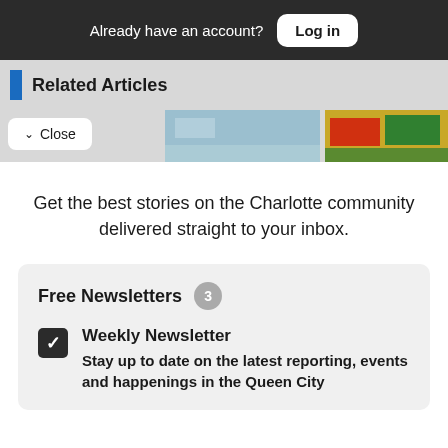Already have an account? Log in
Related Articles
Close
Get the best stories on the Charlotte community delivered straight to your inbox.
Free Newsletters 3
Weekly Newsletter
Stay up to date on the latest reporting, events and happenings in the Queen City